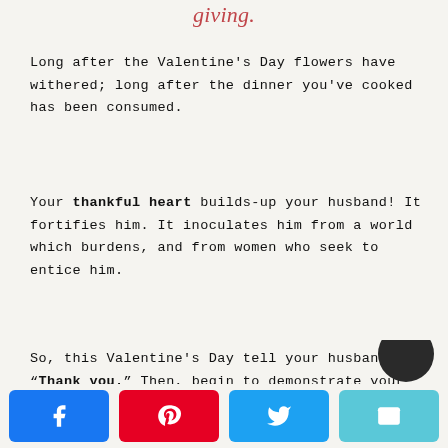giving.
Long after the Valentine's Day flowers have withered; long after the dinner you've cooked has been consumed.
Your thankful heart builds-up your husband! It fortifies him. It inoculates him from a world which burdens, and from women who seek to entice him.
So, this Valentine's Day tell your husband, “Thank you.” Then, begin to demonstrate your thankful heart in a thousand little ways.
[Figure (other): Social sharing buttons: Facebook, Pinterest, Twitter, Email]